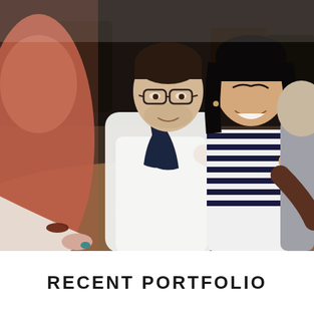[Figure (photo): Group of diverse young people sitting around a wooden cafe table, laughing and socializing over coffee cups and teapots with a small flower arrangement. Indoor cafe setting with dark background.]
RECENT PORTFOLIO